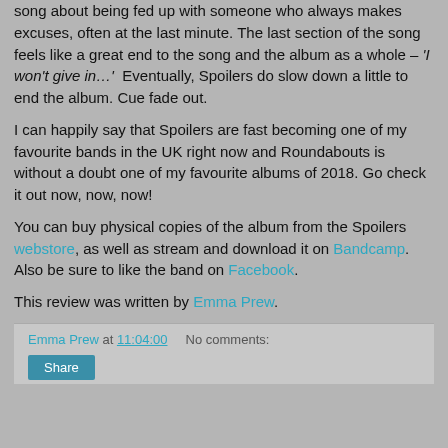song about being fed up with someone who always makes excuses, often at the last minute. The last section of the song feels like a great end to the song and the album as a whole – 'I won't give in…'  Eventually, Spoilers do slow down a little to end the album. Cue fade out.
I can happily say that Spoilers are fast becoming one of my favourite bands in the UK right now and Roundabouts is without a doubt one of my favourite albums of 2018. Go check it out now, now, now!
You can buy physical copies of the album from the Spoilers webstore, as well as stream and download it on Bandcamp. Also be sure to like the band on Facebook.
This review was written by Emma Prew.
Emma Prew at 11:04:00   No comments: